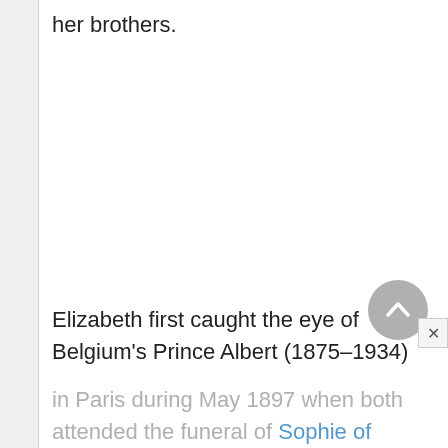her brothers.
Elizabeth first caught the eye of Belgium's Prince Albert (1875–1934)
in Paris during May 1897 when both attended the funeral of Sophie of